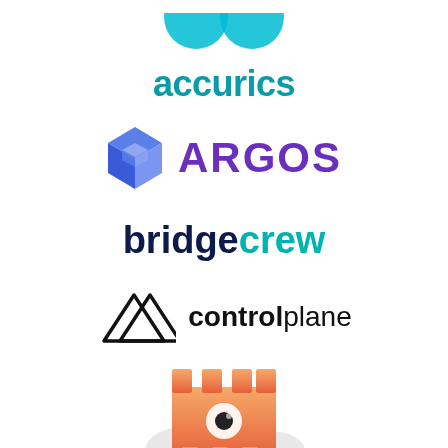[Figure (logo): Accurics logo: two teal circle-arc shapes above the text 'accurics' in teal lowercase bold]
[Figure (logo): Argos logo: 3D blue/purple cube icon with 'ARGOS' text in purple uppercase bold]
[Figure (logo): Bridgecrew logo: 'bridge' in dark navy bold and 'crew' in teal bold lowercase]
[Figure (logo): Control Plane logo: double mountain/triangle outline icon with 'controlplane' text, 'control' bold dark and 'plane' regular]
[Figure (logo): Castle/eye cloud logo: orange castle with eye icon on a cloud shape]